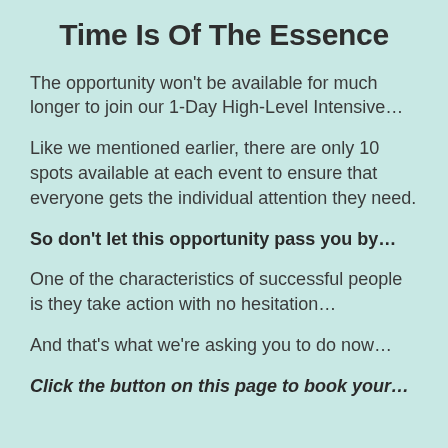Time Is Of The Essence
The opportunity won't be available for much longer to join our 1-Day High-Level Intensive…
Like we mentioned earlier, there are only 10 spots available at each event to ensure that everyone gets the individual attention they need.
So don't let this opportunity pass you by…
One of the characteristics of successful people is they take action with no hesitation…
And that's what we're asking you to do now…
Click the button on this page to book your…